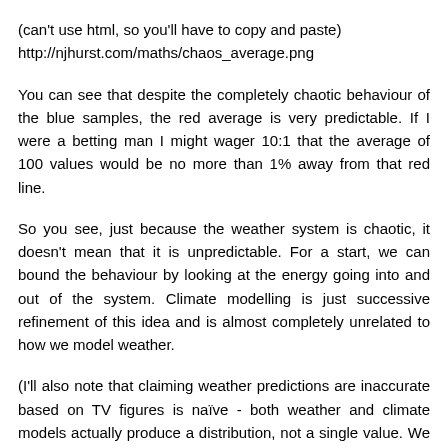(can't use html, so you'll have to copy and paste)
http://njhurst.com/maths/chaos_average.png
You can see that despite the completely chaotic behaviour of the blue samples, the red average is very predictable. If I were a betting man I might wager 10:1 that the average of 100 values would be no more than 1% away from that red line.
So you see, just because the weather system is chaotic, it doesn't mean that it is unpredictable. For a start, we can bound the behaviour by looking at the energy going into and out of the system. Climate modelling is just successive refinement of this idea and is almost completely unrelated to how we model weather.
(I'll also note that claiming weather predictions are inaccurate based on TV figures is naïve - both weather and climate models actually produce a distribution, not a single value. We then need to ask whether these distributions are born out in practice; something you can't do from a single number. You might like to read about information theory to